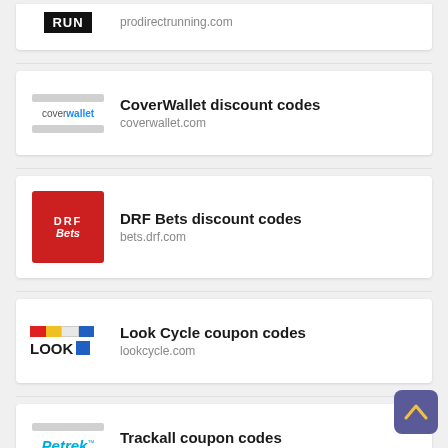[Figure (logo): Partial RUN logo card (top cropped), with URL prodirectrunning.com]
prodirectrunning.com
[Figure (logo): CoverWallet logo]
CoverWallet discount codes
coverwallet.com
[Figure (logo): DRF Bets logo (red square)]
DRF Bets discount codes
bets.drf.com
[Figure (logo): Look Cycle logo]
Look Cycle coupon codes
lookcycle.com
[Figure (logo): Petrek logo]
Trackall coupon codes
trackall.com.au